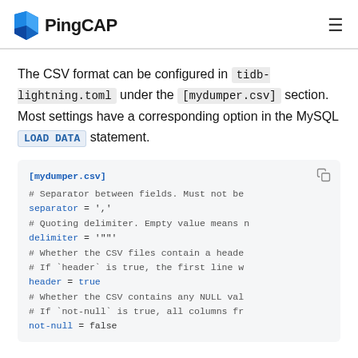PingCAP
The CSV format can be configured in tidb-lightning.toml under the [mydumper.csv] section. Most settings have a corresponding option in the MySQL LOAD DATA statement.
[Figure (screenshot): Code block showing [mydumper.csv] TOML configuration with comments and settings for separator, delimiter, header, and not-null fields]